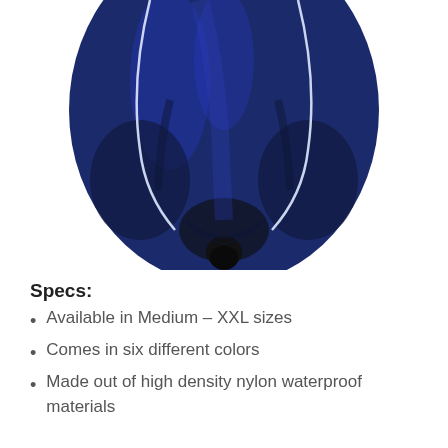[Figure (photo): A navy blue waterproof cover (likely for a patio umbrella or similar outdoor item) shown from above, displaying the bottom portion with white piping/trim and a black center bottom tip, against a white background.]
Specs:
Available in Medium – XXL sizes
Comes in six different colors
Made out of high density nylon waterproof materials